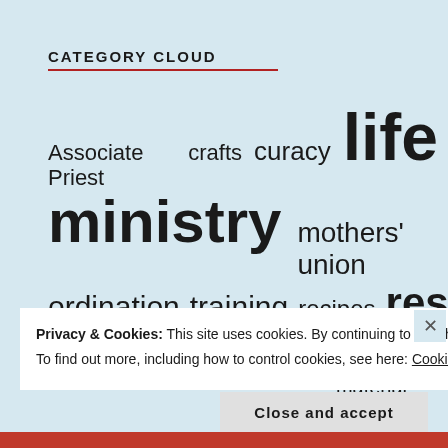CATEGORY CLOUD
[Figure (infographic): Tag cloud / word cloud showing categories: Associate Priest, crafts, curacy, life, ministry, mothers' union, ordination, training, recipes, resources, schools, sermons, study material — with font sizes proportional to frequency/importance]
Privacy & Cookies: This site uses cookies. By continuing to use this website, you agree to their use.
To find out more, including how to control cookies, see here: Cookie Policy
Close and accept